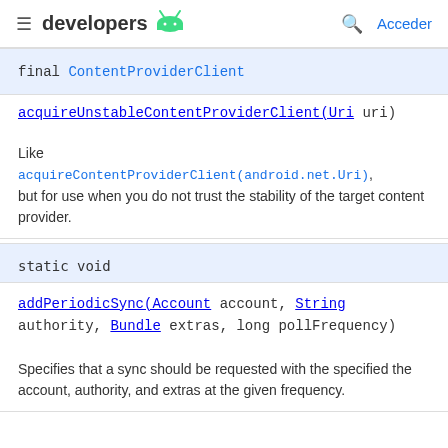developers [android logo] | Acceder
final ContentProviderClient
acquireUnstableContentProviderClient(Uri uri)
Like acquireContentProviderClient(android.net.Uri), but for use when you do not trust the stability of the target content provider.
static void
addPeriodicSync(Account account, String authority, Bundle extras, long pollFrequency)
Specifies that a sync should be requested with the specified the account, authority, and extras at the given frequency.